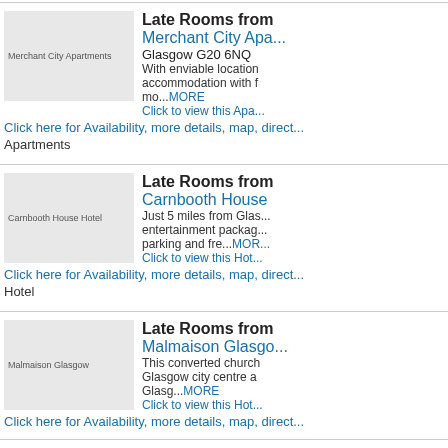[Figure (photo): Merchant City Apartments thumbnail image placeholder]
Late Rooms from
Merchant City Apartments
Glasgow G20 6NQ
With enviable location accommodation with f mo...MORE
Click to view this Apartments
Click here for Availability, more details, map, directions - Merchant City Apartments
[Figure (photo): Carnbooth House Hotel thumbnail image placeholder]
Late Rooms from
Carnbooth House
Just 5 miles from Glasgow entertainment package parking and fre...MORE
Click to view this Hotel
Click here for Availability, more details, map, directions - Carnbooth House Hotel
[Figure (photo): Malmaison Glasgow thumbnail image placeholder]
Late Rooms from
Malmaison Glasgow
This converted church Glasgow city centre a Glasg...MORE
Click to view this Hotel
Click here for Availability, more details, map, directions
[Figure (photo): Riverview Apartments thumbnail image placeholder]
Late Rooms from
Riverview Apartments